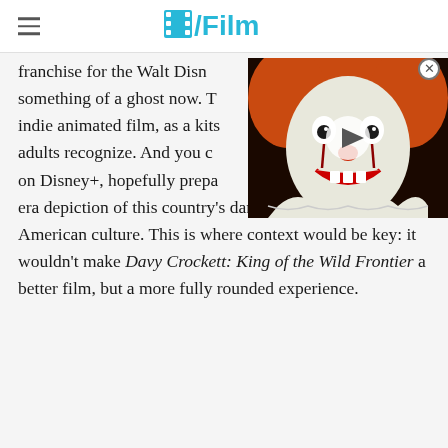/Film
[Figure (photo): Video thumbnail showing Pennywise the clown from the IT movie, with orange hair, white face paint, and a ruffled clown collar. A circular play button is overlaid in the center.]
franchise for the Walt Disney … something of a ghost now. T… indie animated film, as a kits… adults recognize. And you c… on Disney+, hopefully prepa… era depiction of this country's dark past with Native American culture. This is where context would be key: it wouldn't make Davy Crockett: King of the Wild Frontier a better film, but a more fully rounded experience.